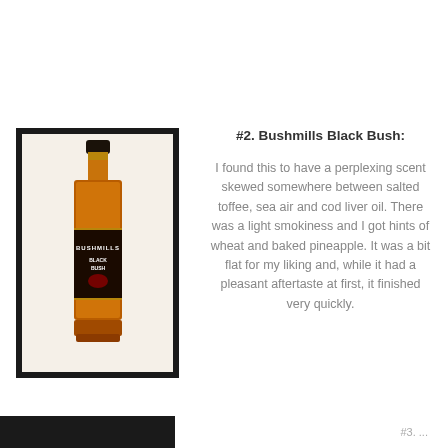[Figure (photo): Bushmills Black Bush Irish Whiskey bottle in a black-bordered frame]
#2. Bushmills Black Bush:
I found this to have a perplexing scent skewed somewhere between salted toffee, sea air and cod liver oil. There was a light smokiness and I got hints of wheat and baked pineapple. It was a bit flat for my liking and, while it had a pleasant aftertaste at first, it finished very quickly.